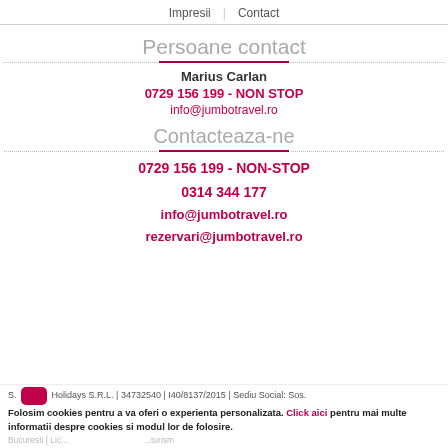Impresii | Contact
Persoane contact
Marius Carlan
0729 156 199 - NON STOP
info@jumbotravel.ro
Contacteaza-ne
0729 156 199 - NON-STOP
0314 344 177
info@jumbotravel.ro
rezervari@jumbotravel.ro
S. ... Holidays S.R.L. | 34732540 | I40/8137/2015 | Sediu Social: Sos.
Folosim cookies pentru a va oferi o experienta personalizata. Click aici pentru mai multe informatii despre cookies si modul lor de folosire.